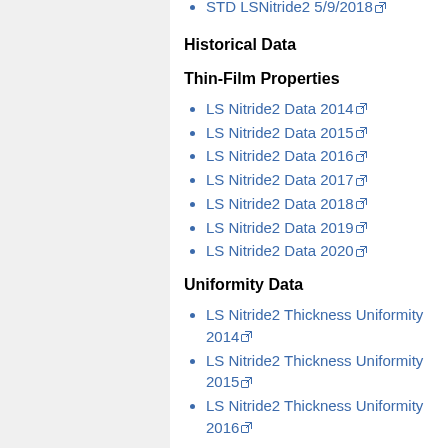STD LSNitride2 5/9/2018
Historical Data
Thin-Film Properties
LS Nitride2 Data 2014
LS Nitride2 Data 2015
LS Nitride2 Data 2016
LS Nitride2 Data 2017
LS Nitride2 Data 2018
LS Nitride2 Data 2019
LS Nitride2 Data 2020
Uniformity Data
LS Nitride2 Thickness Uniformity 2014
LS Nitride2 Thickness Uniformity 2015
LS Nitride2 Thickness Uniformity 2016